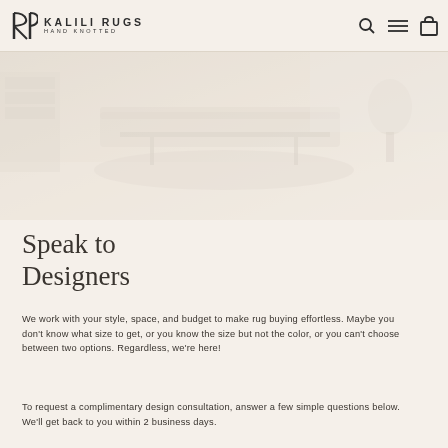KALILI RUGS HAND KNOTTED
[Figure (photo): Faded interior room photo showing a living space with furniture and a rug on the floor, very light/washed out appearance in beige tones]
Speak to Designers
We work with your style, space, and budget to make rug buying effortless. Maybe you don't know what size to get, or you know the size but not the color, or you can't choose between two options. Regardless, we're here!
To request a complimentary design consultation, answer a few simple questions below. We'll get back to you within 2 business days.